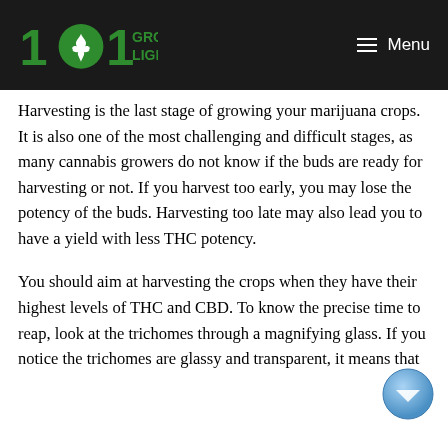101 Grow Lights — Menu
Harvesting is the last stage of growing your marijuana crops. It is also one of the most challenging and difficult stages, as many cannabis growers do not know if the buds are ready for harvesting or not. If you harvest too early, you may lose the potency of the buds. Harvesting too late may also lead you to have a yield with less THC potency.
You should aim at harvesting the crops when they have their highest levels of THC and CBD. To know the precise time to reap, look at the trichomes through a magnifying glass. If you notice the trichomes are glassy and transparent, it means that